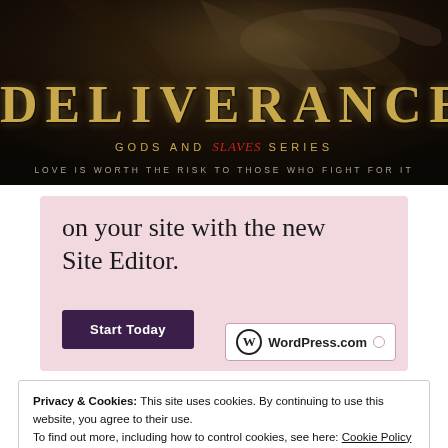[Figure (illustration): Book cover banner for 'Deliverance' from the Gods and Slaves Series with tagline 'Love is worth the risk to those who fight for it', dark background with golden title text]
[Figure (screenshot): WordPress.com advertisement with pink background showing text 'on your site with the new Site Editor.' and a dark purple 'Start Today' button, plus WordPress.com logo]
Privacy & Cookies: This site uses cookies. By continuing to use this website, you agree to their use.
To find out more, including how to control cookies, see here: Cookie Policy
Close and accept